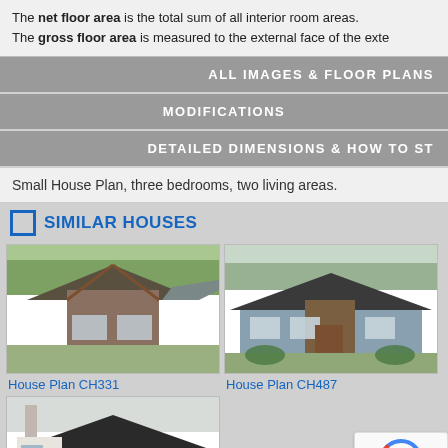The net floor area is the total sum of all interior room areas. The gross floor area is measured to the external face of the exte...
ALL IMAGES & FLOOR PLANS
MODIFICATIONS
DETAILED DIMENSIONS & HOW TO ST...
Small House Plan, three bedrooms, two living areas.
SIMILAR HOUSES
[Figure (photo): Exterior rendering of House Plan CH331, a modern single-story home with exposed timber gable and metal roof]
House Plan CH331
[Figure (photo): Exterior rendering of House Plan CH487, a single-story ranch-style home with gray siding and dark roof]
House Plan CH487
[Figure (photo): Exterior rendering of a white single-story house plan with dark roof and stone chimney]